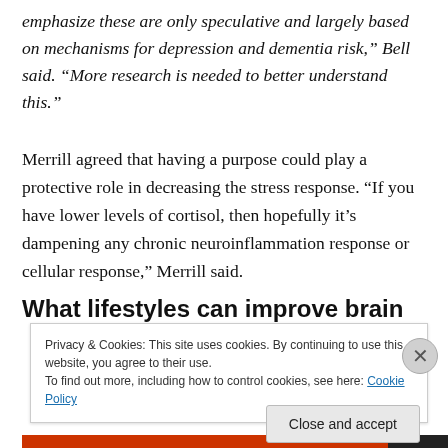emphasize these are only speculative and largely based on mechanisms for depression and dementia risk," Bell said. "More research is needed to better understand this."
Merrill agreed that having a purpose could play a protective role in decreasing the stress response. “If you have lower levels of cortisol, then hopefully it’s dampening any chronic neuroinflammation response or cellular response,” Merrill said.
What lifestyles can improve brain
Privacy & Cookies: This site uses cookies. By continuing to use this website, you agree to their use.
To find out more, including how to control cookies, see here: Cookie Policy
Close and accept